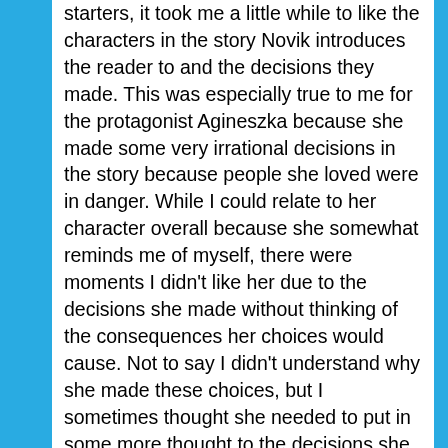starters, it took me a little while to like the characters in the story Novik introduces the reader to and the decisions they made. This was especially true to me for the protagonist Agineszka because she made some very irrational decisions in the story because people she loved were in danger. While I could relate to her character overall because she somewhat reminds me of myself, there were moments I didn't like her due to the decisions she made without thinking of the consequences her choices would cause. Not to say I didn't understand why she made these choices, but I sometimes thought she needed to put in some more thought to the decisions she made and how her choices would impact the lives of others.
I also wasn't particularly fond of the romance Novik set up between two of the characters in the story. I honestly felt like it wasn't necessary because it just